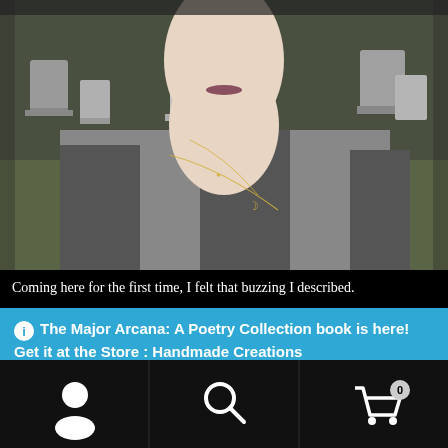[Figure (photo): Person standing in a cemetery wearing a gray and black striped hoodie and a delicate moon necklace, photographed from chin down with gravestones visible in the background.]
Coming here for the first time, I felt that buzzing I described.
The Major Arcana: A Poetry Collection book is here! Get it at the Store : Handmade Creations
Dismiss
[Figure (other): Bottom navigation bar with person icon, search icon, and shopping cart icon with badge showing 0.]